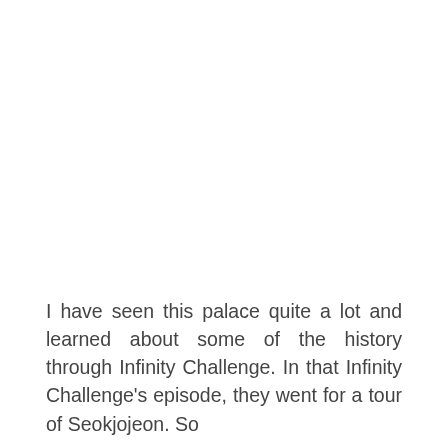I have seen this palace quite a lot and learned about some of the history through Infinity Challenge. In that Infinity Challenge's episode, they went for a tour of Seokjojeon. So